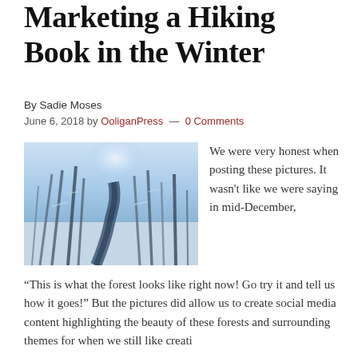Marketing a Hiking Book in the Winter
By Sadie Moses
June 6, 2018 by OoliganPress — 0 Comments
[Figure (photo): Snowy winter forest path with snow-covered trees and a dark winding creek or path through the middle, light glowing through the trees]
We were very honest when posting these pictures. It wasn't like we were saying in mid-December,
“This is what the forest looks like right now! Go try it and tell us how it goes!” But the pictures did allow us to create social media content highlighting the beauty of these forests and surrounding themes for when we still like creating